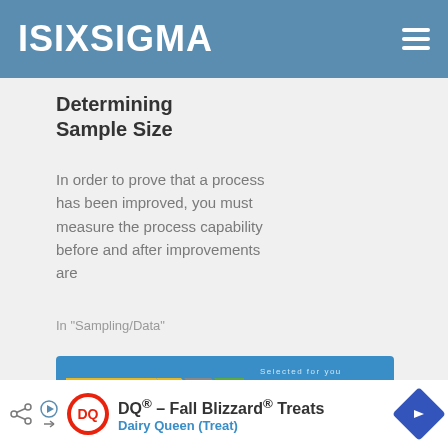ISIXSIGMA
Determining Sample Size
In order to prove that a process has been improved, you must measure the process capability before and after improvements are
In "Sampling/Data"
[Figure (infographic): Blue banner with Current state (yellow arrow), Gap (grey arrow), Future state (green arrow) chevron diagram on left; 'Selected for you: How to Write an Effective Problem Statement' text on right]
[Figure (infographic): Advertisement bar: DQ - Fall Blizzard Treats, Dairy Queen (Treat), with DQ logo and blue diamond arrow icon]